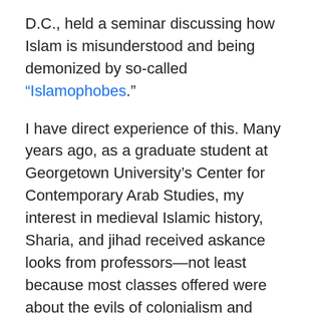D.C.,  held a seminar discussing how Islam is misunderstood and being demonized by so-called “Islamophobes.”
I have direct experience of this.  Many years ago, as a graduate student at Georgetown University’s Center for Contemporary Arab Studies, my interest in medieval Islamic history, Sharia, and jihad received askance looks from professors—not least because most classes offered were about the evils of colonialism and Orientalism, or Islamic “feminism.”
It was the same when I worked at the African and Middle Eastern Division of the Library of Congress, a governmental institution; there, our conferences regularly focused on the purported achievements of Islamic civilization.